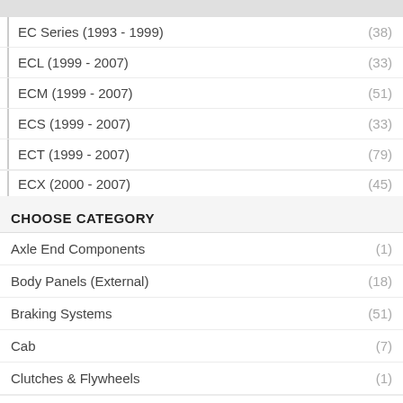EC Series (1993 - 1999) (38)
ECL (1999 - 2007) (33)
ECM (1999 - 2007) (51)
ECS (1999 - 2007) (33)
ECT (1999 - 2007) (79)
ECX (2000 - 2007) (45)
CHOOSE CATEGORY
Axle End Components (1)
Body Panels (External) (18)
Braking Systems (51)
Cab (7)
Clutches & Flywheels (1)
Electrical (2)
REFINE BY PRICE